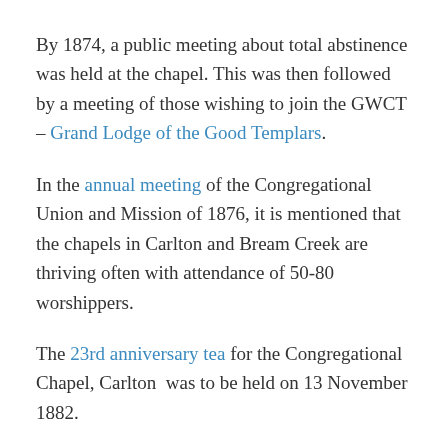By 1874, a public meeting about total abstinence was held at the chapel. This was then followed by a meeting of those wishing to join the GWCT – Grand Lodge of the Good Templars.
In the annual meeting of the Congregational Union and Mission of 1876, it is mentioned that the chapels in Carlton and Bream Creek are thriving often with attendance of 50-80 worshippers.
The 23rd anniversary tea for the Congregational Chapel, Carlton  was to be held on 13 November 1882.